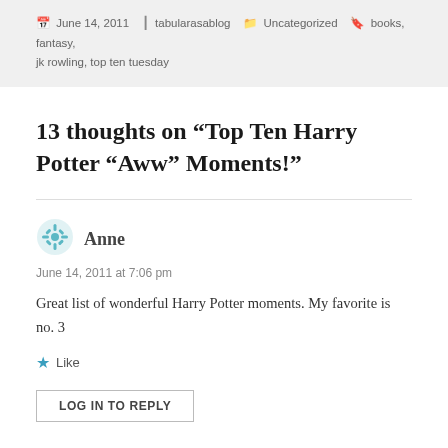June 14, 2011  tabularasablog  Uncategorized  books, fantasy, jk rowling, top ten tuesday
13 thoughts on “Top Ten Harry Potter “Aww” Moments!”
Anne
June 14, 2011 at 7:06 pm
Great list of wonderful Harry Potter moments. My favorite is no. 3
Like
LOG IN TO REPLY